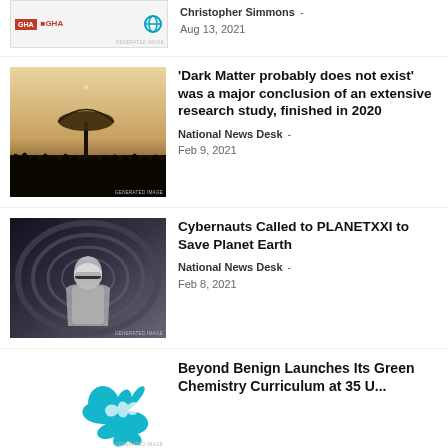[Figure (photo): Partial thumbnail showing GHA logo and another logo on white background]
Christopher Simmons  -  Aug 13, 2021
[Figure (photo): Sepia-toned photo of a large radio telescope dish silhouetted against a pale sky, with dark grass/reeds in the foreground]
'Dark Matter probably does not exist' was a major conclusion of an extensive research study, finished in 2020
National News Desk  -  Feb 9, 2021
[Figure (photo): Futuristic sci-fi interior scene with a silver-haired woman in metallic suit and visor glasses inside a spacecraft-like tunnel]
Cybernauts Called to PLANETXXI to Save Planet Earth
National News Desk  -  Feb 8, 2021
[Figure (logo): Teal/turquoise abstract arrow or knot logo on white background — Beyond Benign]
Beyond Benign Launches Its Green Chemistry Curriculum at 35 U...